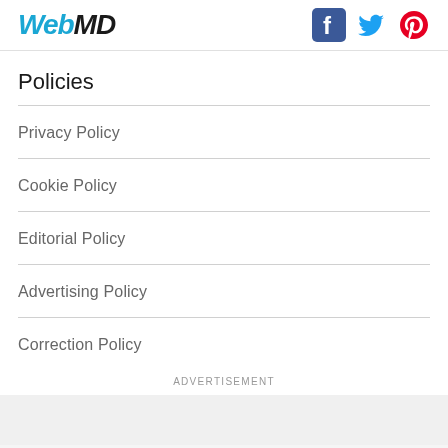[Figure (logo): WebMD logo with italic blue 'Web' and dark 'MD' text]
[Figure (illustration): Social media icons: Facebook (blue square), Twitter (blue bird), Pinterest (red P)]
Policies
Privacy Policy
Cookie Policy
Editorial Policy
Advertising Policy
Correction Policy
ADVERTISEMENT